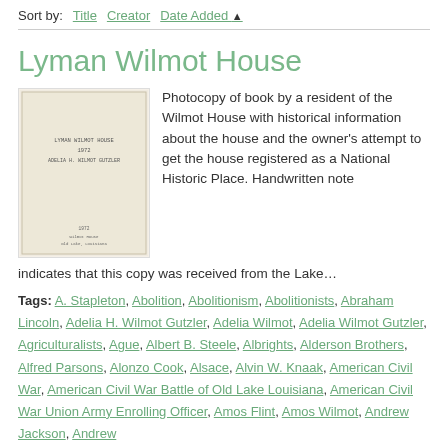Sort by: Title  Creator  Date Added ▲
Lyman Wilmot House
[Figure (photo): Photocopy of a book cover — the Lyman Wilmot House book]
Photocopy of book by a resident of the Wilmot House with historical information about the house and the owner's attempt to get the house registered as a National Historic Place. Handwritten note indicates that this copy was received from the Lake…
Tags: A. Stapleton, Abolition, Abolitionism, Abolitionists, Abraham Lincoln, Adelia H. Wilmot Gutzler, Adelia Wilmot, Adelia Wilmot Gutzler, Agriculturalists, Ague, Albert B. Steele, Albrights, Alderson Brothers, Alfred Parsons, Alonzo Cook, Alsace, Alvin W. Knaak, American Civil War, American Civil War Battle of Old Lake Louisiana, American Civil War Union Army Enrolling Officer, Amos Flint, Amos Wilmot, Andrew Jackson, Andrew…